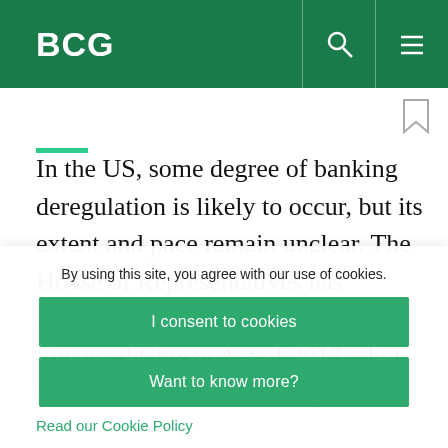BCG
In the US, some degree of banking deregulation is likely to occur, but its extent and pace remain unclear. The House of Representatives has approved one measure—the Financial Choice Act of 2017—but that measure has faced tougher
By using this site, you agree with our use of cookies.
I consent to cookies
Want to know more?
Read our Cookie Policy